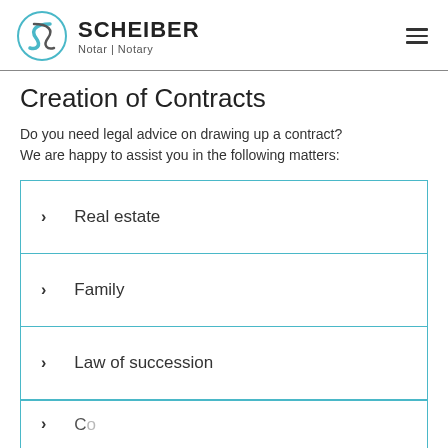SCHEIBER Notar | Notary
Creation of Contracts
Do you need legal advice on drawing up a contract? We are happy to assist you in the following matters:
Real estate
Family
Law of succession
Commercial (partial)